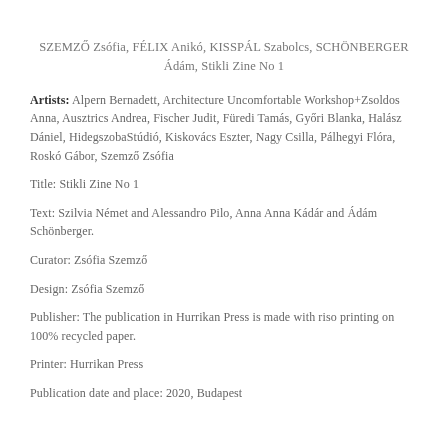SZEMZŐ Zsófia, FÉLIX Anikó, KISSPÁL Szabolcs, SCHÖNBERGER Ádám, Stikli Zine No 1
Artists: Alpern Bernadett, Architecture Uncomfortable Workshop+Zsoldos Anna, Ausztrics Andrea, Fischer Judit, Füredi Tamás, Győri Blanka, Halász Dániel, HidegszobaStúdió, Kiskovács Eszter, Nagy Csilla, Pálhegyi Flóra, Roskó Gábor, Szemző Zsófia
Title: Stikli Zine No 1
Text: Szilvia Német and Alessandro Pilo, Anna Anna Kádár and Ádám Schönberger.
Curator: Zsófia Szemző
Design: Zsófia Szemző
Publisher: The publication in Hurrikan Press is made with riso printing on 100% recycled paper.
Printer: Hurrikan Press
Publication date and place: 2020, Budapest